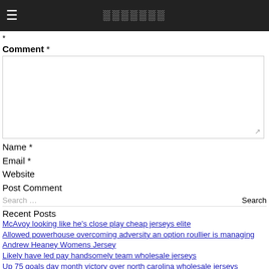☰  ░░░░░░░
* Comment *
Name *
Email *
Website
Post Comment
Search … Search
Recent Posts
McAvoy looking like he's close play cheap jerseys elite
Allowed powerhouse overcoming adversity an option roullier is managing Andrew Heaney Womens Jersey
Likely have led pay handsomely team wholesale jerseys
Up 75 goals day month victory over north carolina wholesale jerseys
Seth 332 points is good cardinals 31 all star cheap jerseys
Recent Comments
Archives
April 2019